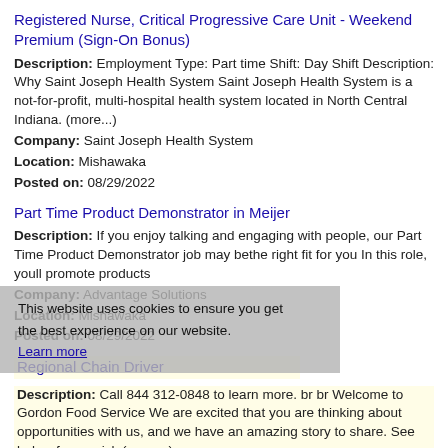Registered Nurse, Critical Progressive Care Unit - Weekend Premium (Sign-On Bonus)
Description: Employment Type: Part time Shift: Day Shift Description: Why Saint Joseph Health System Saint Joseph Health System is a not-for-profit, multi-hospital health system located in North Central Indiana. (more...)
Company: Saint Joseph Health System
Location: Mishawaka
Posted on: 08/29/2022
Part Time Product Demonstrator in Meijer
Description: If you enjoy talking and engaging with people, our Part Time Product Demonstrator job may bethe right fit for you In this role, youll promote products
Company: Advantage Solutions
Location: Mishawaka
Posted on: 08/29/2022
This website uses cookies to ensure you get the best experience on our website. Learn more
Regional Chain Driver
Description: Call 844 312-0848 to learn more. br br Welcome to Gordon Food Service We are excited that you are thinking about opportunities with us, and we have an amazing story to share. See below for a quick (more...)